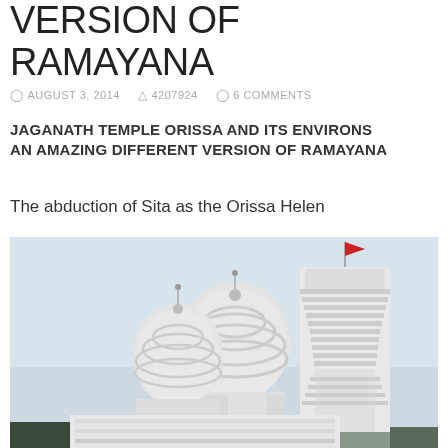VERSION OF RAMAYANA
AUGUST 3, 2014   4207924   6 COMMENTS
JAGANATH TEMPLE ORISSA AND ITS ENVIRONS AN AMAZING DIFFERENT VERSION OF RAMAYANA
The abduction of Sita as the Orissa Helen
[Figure (photo): Photograph of the Jaganath Temple in Orissa, showing ornate white carved temple towers (shikhara) with a red flag on top, against a pale sky background.]